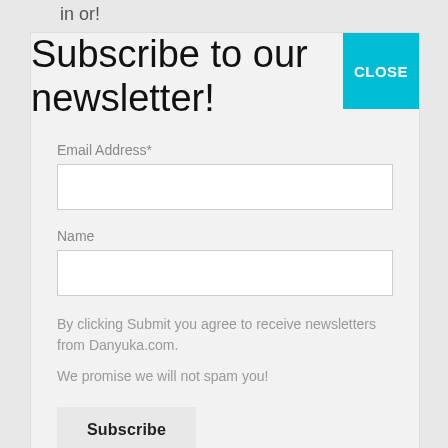in or!
Subscribe to our newsletter!
Email Address*
Name
By clicking Submit you agree to receive newsletters from Danyuka.com.
We promise we will not spam you!
Subscribe